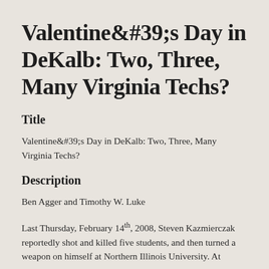Valentine&#39;s Day in DeKalb: Two, Three, Many Virginia Techs?
Title
Valentine&#39;s Day in DeKalb: Two, Three, Many Virginia Techs?
Description
Ben Agger and Timothy W. Luke
Last Thursday, February 14th, 2008, Steven Kazmierczak reportedly shot and killed five students, and then turned a weapon on himself at Northern Illinois University. At